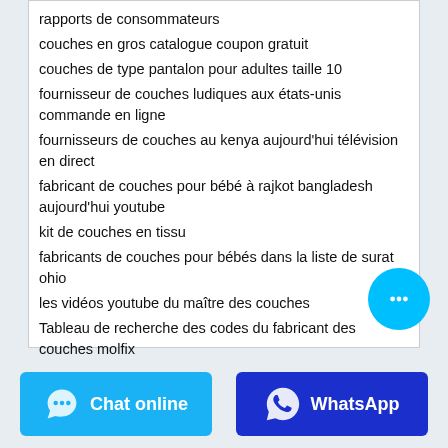rapports de consommateurs
couches en gros catalogue coupon gratuit
couches de type pantalon pour adultes taille 10
fournisseur de couches ludiques aux états-unis commande en ligne
fournisseurs de couches au kenya aujourd'hui télévision en direct
fabricant de couches pour bébé à rajkot bangladesh aujourd'hui youtube
kit de couches en tissu
fabricants de couches pour bébés dans la liste de surat ohio
les vidéos youtube du maître des couches
Tableau de recherche des codes du fabricant des couches molfix
Chat online
WhatsApp